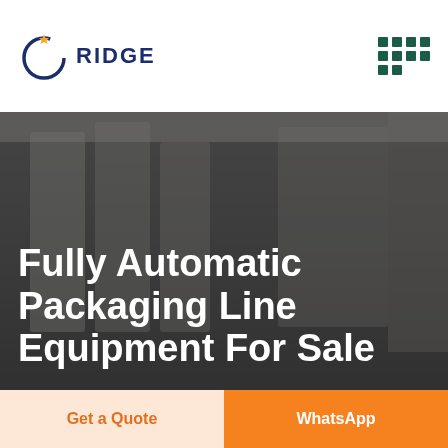[Figure (logo): Ridge company logo with circular icon and bold text RIDGE]
[Figure (infographic): 3x4 grid of dark teal squares forming a menu/grid icon]
[Figure (photo): Hero image of a factory floor with packaging machinery, workers visible in background, overlaid with dark semi-transparent overlay]
Fully Automatic Packaging Line Equipment For Sale
Home // Products
Get a Quote
WhatsApp